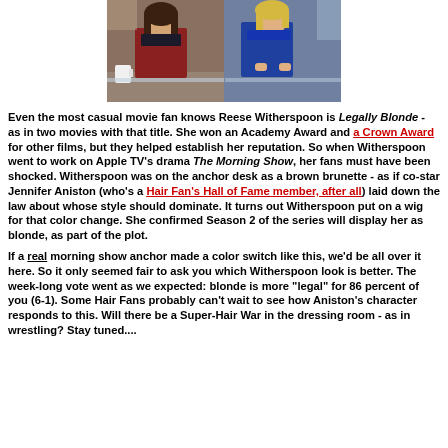[Figure (photo): Two women seated at an anchor desk in a TV studio setting. Left woman has dark/brunette hair wearing dark clothing. Right woman is blonde wearing a blue top.]
Even the most casual movie fan knows Reese Witherspoon is Legally Blonde - as in two movies with that title. She won an Academy Award and a Crown Award for other films, but they helped establish her reputation. So when Witherspoon went to work on Apple TV's drama The Morning Show, her fans must have been shocked. Witherspoon was on the anchor desk as a brown brunette - as if co-star Jennifer Aniston (who's a Hair Fan's Hall of Fame member, after all) laid down the law about whose style should dominate. It turns out Witherspoon put on a wig for that color change. She confirmed Season 2 of the series will display her as blonde, as part of the plot.

If a real morning show anchor made a color switch like this, we'd be all over it here. So it only seemed fair to ask you which Witherspoon look is better. The week-long vote went as we expected: blonde is more "legal" for 86 percent of you (6-1). Some Hair Fans probably can't wait to see how Aniston's character responds to this. Will there be a Super-Hair War in the dressing room - as in wrestling? Stay tuned....